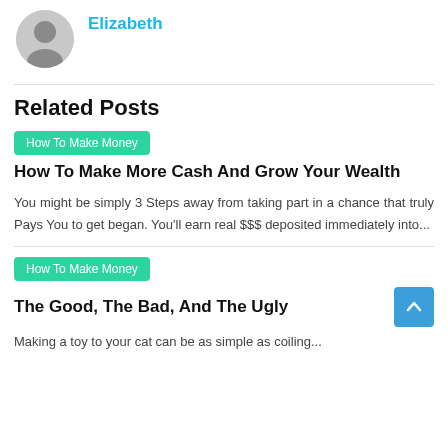[Figure (illustration): Circular avatar/profile picture placeholder with grey background and silhouette icon]
Elizabeth
Related Posts
How To Make Money
How To Make More Cash And Grow Your Wealth
You might be simply 3 Steps away from taking part in a chance that truly Pays You to get began. You'll earn real $$$ deposited immediately into...
How To Make Money
The Good, The Bad, And The Ugly
Making a toy to your cat can be as simple as coiling...